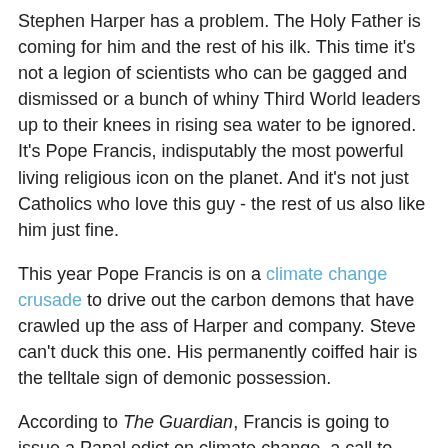Stephen Harper has a problem.  The Holy Father is coming for him and the rest of his ilk.  This time it's not a legion of scientists who can be gagged and dismissed or a bunch of whiny Third World leaders up to their knees in rising sea water to be ignored.  It's Pope Francis, indisputably the most powerful living religious icon on the planet.  And it's not just Catholics who love this guy - the rest of us also like him just fine.
This year Pope Francis is on a climate change crusade to drive out the carbon demons that have crawled up the ass of Harper and company.  Steve can't duck this one.  His permanently coiffed hair is the telltale sign of demonic possession.
According to The Guardian, Francis is going to issue a Papal edict on climate change, a call to arms to the world's 1.2-billion Catholics.
"...can Francis achieve a feat that has so far eluded secular powers and inspire decisive action on climate change?
"It looks as if he will give it a go.  In 2015, the pope will issue